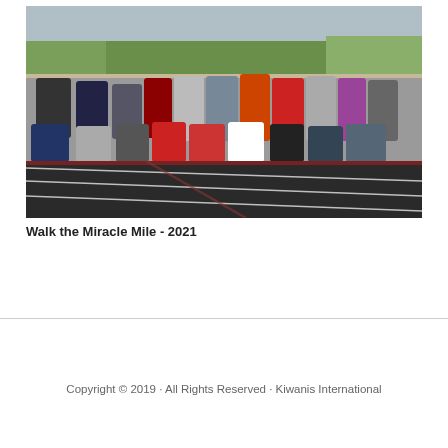[Figure (photo): Group photo of approximately 20 people posing on a black running track with red accent lines. Two rows — back row standing, front row kneeling. Green trees and athletic field visible in the background. People are dressed in casual athletic wear in various colors including red, black, grey, and purple.]
Walk the Miracle Mile - 2021
Copyright © 2019 · All Rights Reserved · Kiwanis International